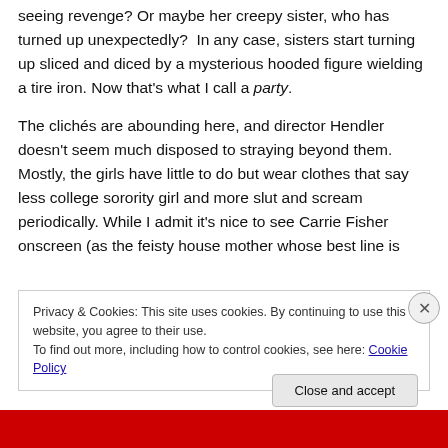seeing revenge? Or maybe her creepy sister, who has turned up unexpectedly?  In any case, sisters start turning up sliced and diced by a mysterious hooded figure wielding a tire iron. Now that's what I call a party.
The clichés are abounding here, and director Hendler doesn't seem much disposed to straying beyond them. Mostly, the girls have little to do but wear clothes that say less college sorority girl and more slut and scream periodically. While I admit it's nice to see Carrie Fisher onscreen (as the feisty house mother whose best line is
Privacy & Cookies: This site uses cookies. By continuing to use this website, you agree to their use.
To find out more, including how to control cookies, see here: Cookie Policy
Close and accept